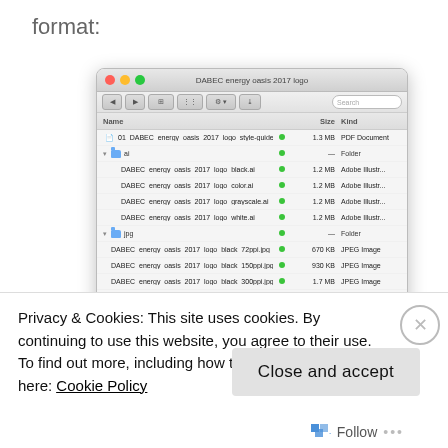format:
[Figure (screenshot): macOS Finder window showing a folder named 'DABEC energy oasis 2017 logo' containing subfolders (ai, jpg, pdf, png) and various logo files in different formats and resolutions including PDF, Adobe Illustrator, JPEG, and PDF files.]
Privacy & Cookies: This site uses cookies. By continuing to use this website, you agree to their use.
To find out more, including how to control cookies, see here: Cookie Policy
Close and accept
Follow